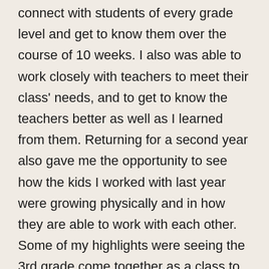connect with students of every grade level and get to know them over the course of 10 weeks. I also was able to work closely with teachers to meet their class' needs, and to get to know the teachers better as well as I learned from them. Returning for a second year also gave me the opportunity to see how the kids I worked with last year were growing physically and in how they are able to work with each other. Some of my highlights were seeing the 3rd grade come together as a class to have a blast doing communication challenges that middle schoolers find tough. With the middle scho was able to run three Friday afternoon activities